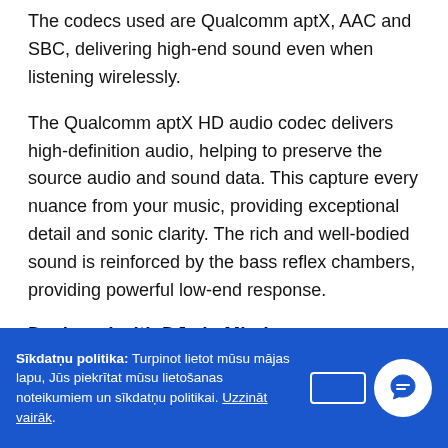The codecs used are Qualcomm aptX, AAC and SBC, delivering high-end sound even when listening wirelessly.
The Qualcomm aptX HD audio codec delivers high-definition audio, helping to preserve the source audio and sound data. This capture every nuance from your music, providing exceptional detail and sonic clarity. The rich and well-bodied sound is reinforced by the bass reflex chambers, providing powerful low-end response.
Designed with DJs in Mind
The dynamic and full-bodied sound allows you to monitor your records with precision. The exceptional clarity allows you to hear your mixes with ease, providing the means to effortlessly blend between songs. The bass reflex chambers
Sīkdatņu politika: Turpinot lietot mūsu mājas lapu, Jūs piekrītat mūsu lietošanas noteikumiem un sīkdatņu politikai. Uzzināt vairāk.